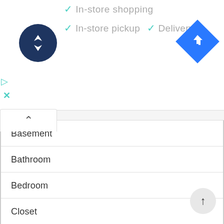[Figure (screenshot): Top bar with teal checkmarks for In-store shopping, In-store pickup, Delivery; dark navy circular navigation icon; blue diamond direction icon; teal play and X icons]
Basement
Bathroom
Bedroom
Closet
Deck
Dining Room
Entry
Exterior